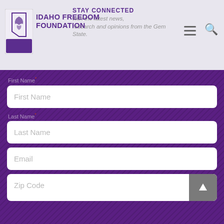STAY CONNECTED with the latest news, research and opinions from the Gem State. Idaho Freedom Foundation
First Name *
First Name
Last Name *
Last Name
Email
Zip Code